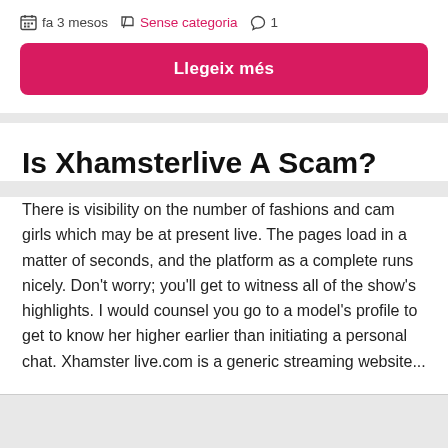fa 3 mesos  Sense categoria  1
Llegeix més
Is Xhamsterlive A Scam?
There is visibility on the number of fashions and cam girls which may be at present live. The pages load in a matter of seconds, and the platform as a complete runs nicely. Don't worry; you'll get to witness all of the show's highlights. I would counsel you go to a model's profile to get to know her higher earlier than initiating a personal chat. Xhamster live.com is a generic streaming website...